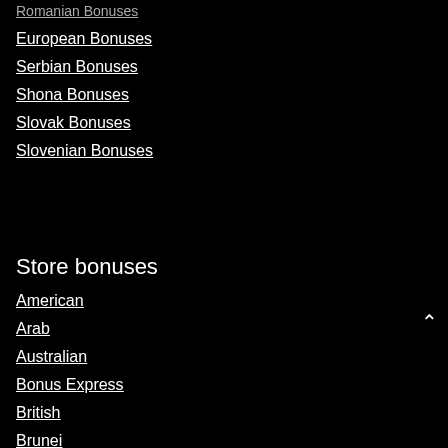Romanian Bonuses
European Bonuses
Serbian Bonuses
Shona Bonuses
Slovak Bonuses
Slovenian Bonuses
Store bonuses
American
Arab
Australian
Bonus Express
British
Brunei